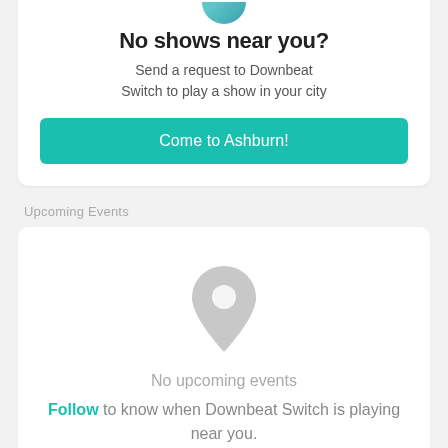No shows near you?
Send a request to Downbeat Switch to play a show in your city
Come to Ashburn!
Upcoming Events
[Figure (illustration): Grey map pin / location marker icon]
No upcoming events
Follow to know when Downbeat Switch is playing near you.
Past